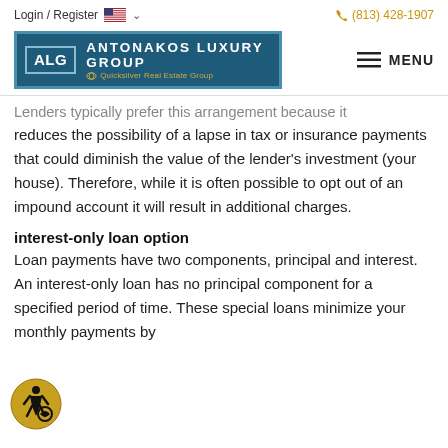Login / Register   (813) 428-1907
[Figure (logo): Antonakos Luxury Group logo with ALG initials on teal background and Quicksilver Real Estate tagline]
Lenders typically prefer this arrangement because it reduces the possibility of a lapse in tax or insurance payments that could diminish the value of the lender's investment (your house). Therefore, while it is often possible to opt out of an impound account it will result in additional charges.
interest-only loan option
Loan payments have two components, principal and interest. An interest-only loan has no principal component for a specified period of time. These special loans minimize your monthly payments by eliminating the principal payment requirement...